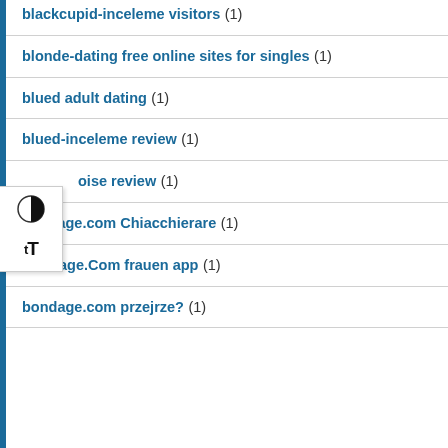blackcupid-inceleme visitors (1)
blonde-dating free online sites for singles (1)
blued adult dating (1)
blued-inceleme review (1)
oise review (1)
bondage.com Chiacchierare (1)
Bondage.Com frauen app (1)
bondage.com przejrze? (1)